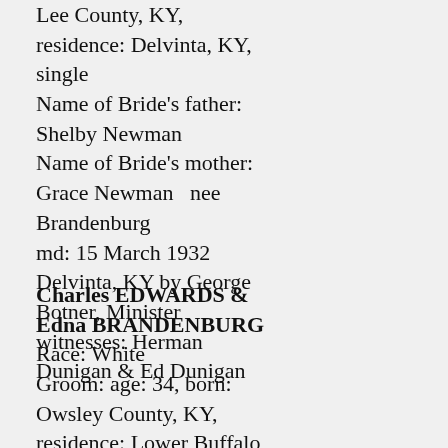Lee County, KY, residence: Delvinta, KY, single
Name of Bride's father: Shelby Newman
Name of Bride's mother: Grace Newman   nee Brandenburg
md: 15 March 1932 Delvinta, KY by George Botner, Minister witnesses: Herman Dunigan & Ed Dunigan
Charles EDWARDS & Edna BRANDENBURG
Race: White
Groom: age: 34, born: Owsley County, KY, residence: Lower Buffalo, KY, single
Name of Groom's Father: